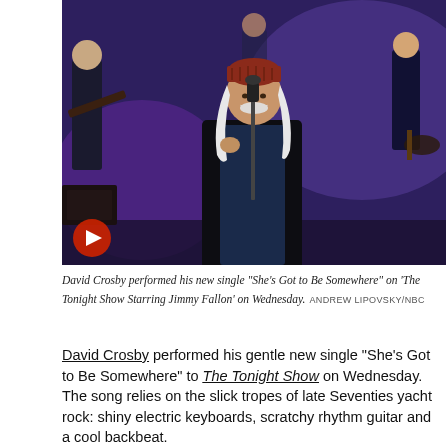[Figure (photo): David Crosby performing on stage at The Tonight Show Starring Jimmy Fallon, standing at a microphone wearing a dark coat and red knit hat, with band members visible behind him on a purple-lit stage.]
David Crosby performed his new single "She's Got to Be Somewhere" on 'The Tonight Show Starring Jimmy Fallon' on Wednesday.  ANDREW LIPOVSKY/NBC
David Crosby performed his gentle new single “She’s Got to Be Somewhere” to The Tonight Show on Wednesday. The song relies on the slick tropes of late Seventies yacht rock: shiny electric keyboards, scratchy rhythm guitar and a cool backbeat.